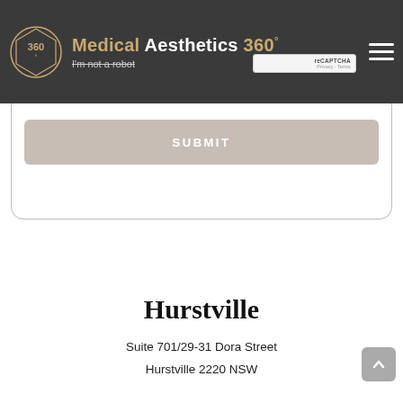[Figure (screenshot): Medical Aesthetics 360 website header with dark background, circular logo with '360' text, brand name 'Medical Aesthetics 360°', hamburger menu icon, and a reCAPTCHA widget with 'I'm not a robot' checkbox]
Others
SUBMIT
Hurstville
Suite 701/29-31 Dora Street
Hurstville 2220 NSW